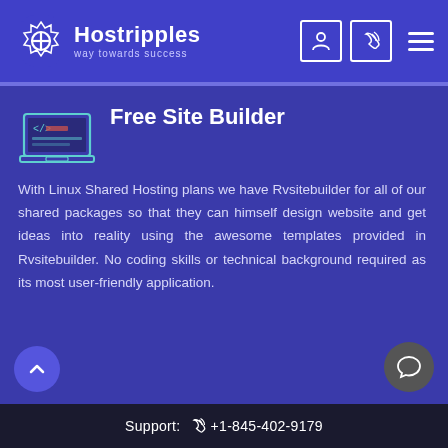[Figure (logo): Hostripples logo with gear/lens icon and text 'Hostripples way towards success']
Free Site Builder
With Linux Shared Hosting plans we have Rvsitebuilder for all of our shared packages so that they can himself design website and get ideas into reality using the awesome templates provided in Rvsitebuilder. No coding skills or technical background required as its most user-friendly application.
Support: +1-845-402-9179